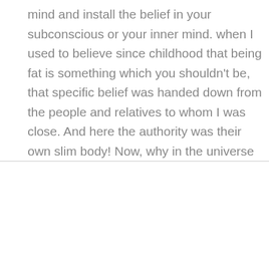mind and install the belief in your subconscious or your inner mind. when I used to believe since childhood that being fat is something which you shouldn't be, that specific belief was handed down from the people and relatives to whom I was close. And here the authority was their own slim body! Now, why in the universe from this infinite variation and mixes of people, do you
We use cookies on our website to give you the most relevant experience by remembering your preferences and repeat visits. By clicking “Accept”, you consent to the use of ALL the cookies.
Do not sell my personal information.
Cookie settings
ACCEPT